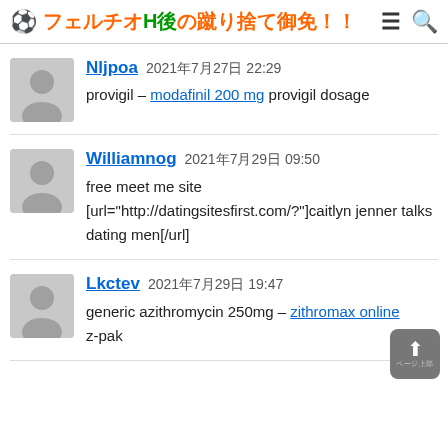⚽ フェルチオH後の蹴り捨て御免！！
Nljpoa 2021年7月27日 22:29
provigil – modafinil 200 mg provigil dosage
Williamnog 2021年7月29日 09:50
free meet me site
[url="http://datingsitesfirst.com/??"]caitlyn jenner talks dating men[/url]
Lkctev 2021年7月29日 19:47
generic azithromycin 250mg – zithromax online z-pak